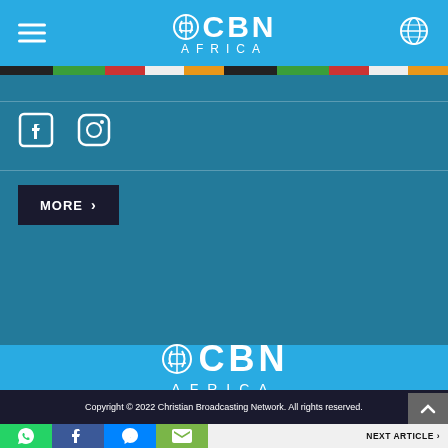[Figure (logo): CBN Africa logo in white on blue header bar with hamburger menu on left and globe icon on right]
[Figure (infographic): Colorful stripe bar with segments in black, green, red, white, orange, black, green, red, white, orange representing African flag colors]
[Figure (infographic): Social media icons: Facebook and Instagram in white on teal background]
[Figure (other): MORE button with right arrow on dark background]
[Figure (logo): CBN Africa footer logo in white on light blue background]
Copyright © 2022 Christian Broadcasting Network. All rights reserved.
[Figure (infographic): Bottom share bar with WhatsApp, Facebook, Messenger, Email icons and NEXT ARTICLE button]